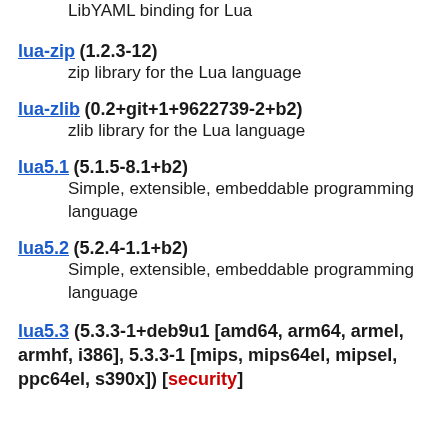LibYAML binding for Lua
lua-zip (1.2.3-12)
  zip library for the Lua language
lua-zlib (0.2+git+1+9622739-2+b2)
  zlib library for the Lua language
lua5.1 (5.1.5-8.1+b2)
  Simple, extensible, embeddable programming language
lua5.2 (5.2.4-1.1+b2)
  Simple, extensible, embeddable programming language
lua5.3 (5.3.3-1+deb9u1 [amd64, arm64, armel, armhf, i386], 5.3.3-1 [mips, mips64el, mipsel, ppc64el, s390x]) [security]